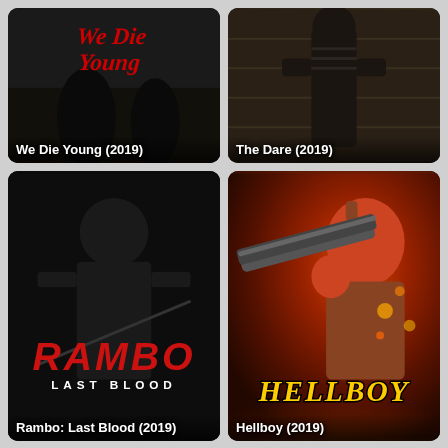[Figure (photo): Movie poster for We Die Young (2019) - dark background with gothic red title text]
We Die Young (2019)
[Figure (photo): Movie poster for The Dare (2019) - dark moody background with muscular figure]
The Dare (2019)
[Figure (photo): Movie poster for Rambo: Last Blood (2019) - black and white with red RAMBO LAST BLOOD text]
Rambo: Last Blood (2019)
[Figure (photo): Movie poster for Hellboy (2019) - fiery red/orange background with Hellboy holding weapon and gold HELLBOY title]
Hellboy (2019)
[Figure (photo): Partial movie poster - dark red background, partially visible]
[Figure (photo): Partial movie poster - warm toned background with woman, partially visible]